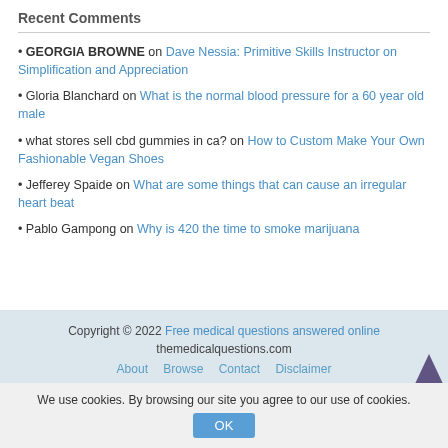Recent Comments
GEORGIA BROWNE on Dave Nessia: Primitive Skills Instructor on Simplification and Appreciation
Gloria Blanchard on What is the normal blood pressure for a 60 year old male
what stores sell cbd gummies in ca? on How to Custom Make Your Own Fashionable Vegan Shoes
Jefferey Spaide on What are some things that can cause an irregular heart beat
Pablo Gampong on Why is 420 the time to smoke marijuana
Copyright © 2022 Free medical questions answered online themedicalquestions.com About Browse Contact Disclaimer
We use cookies. By browsing our site you agree to our use of cookies.